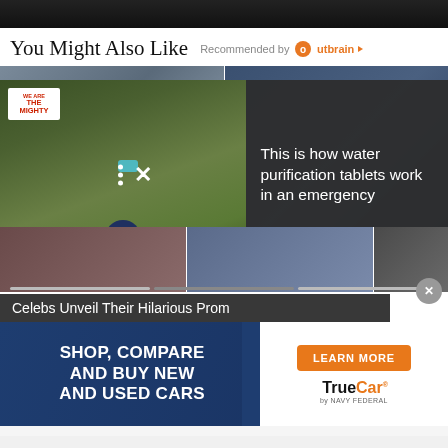[Figure (screenshot): Dark top section of a webpage, black background image strip]
You Might Also Like
Recommended by Outbrain
[Figure (screenshot): Content recommendation widget showing photo grid with overlay ad. Left photo shows military/nature scene, right photo shows a person. Overlay ad panel on right side shows: 'This is how water purification tablets work in an emergency' with We Are The Mighty logo, close button, arrow button. Bottom shows prom photo grid with caption 'Celebs Unveil Their Hilarious Prom'. Close X button on far right.]
[Figure (screenshot): TrueCar advertisement banner: 'SHOP, COMPARE AND BUY NEW AND USED CARS' with 'LEARN MORE' orange button and TrueCar by Navy Federal logo]